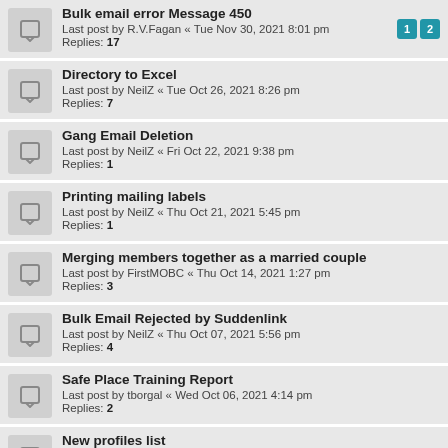Bulk email error Message 450
Last post by R.V.Fagan « Tue Nov 30, 2021 8:01 pm
Replies: 17
Directory to Excel
Last post by NeilZ « Tue Oct 26, 2021 8:26 pm
Replies: 7
Gang Email Deletion
Last post by NeilZ « Fri Oct 22, 2021 9:38 pm
Replies: 1
Printing mailing labels
Last post by NeilZ « Thu Oct 21, 2021 5:45 pm
Replies: 1
Merging members together as a married couple
Last post by FirstMOBC « Thu Oct 14, 2021 1:27 pm
Replies: 3
Bulk Email Rejected by Suddenlink
Last post by NeilZ « Thu Oct 07, 2021 5:56 pm
Replies: 4
Safe Place Training Report
Last post by tborgal « Wed Oct 06, 2021 4:14 pm
Replies: 2
New profiles list
Last post by Zorak « Tue Oct 05, 2021 4:32 pm
Replies: 1
Incomplete Report was generated
Last post by Zorak « Tue Sep 28, 2021 2:18 pm
Replies: 2